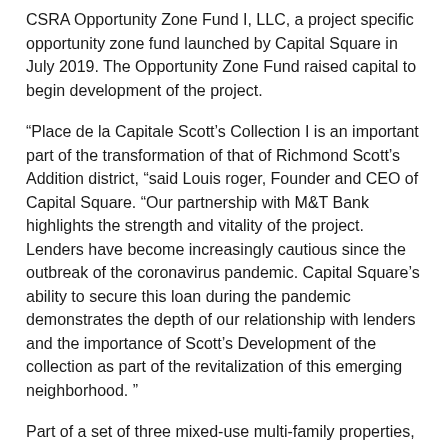CSRA Opportunity Zone Fund I, LLC, a project specific opportunity zone fund launched by Capital Square in July 2019. The Opportunity Zone Fund raised capital to begin development of the project.
“Place de la Capitale Scott’s Collection I is an important part of the transformation of that of Richmond Scott’s Addition district, “said Louis roger, Founder and CEO of Capital Square. “Our partnership with M&T Bank highlights the strength and vitality of the project. Lenders have become increasingly cautious since the outbreak of the coronavirus pandemic. Capital Square’s ability to secure this loan during the pandemic demonstrates the depth of our relationship with lenders and the importance of Scott’s Development of the collection as part of the revitalization of this emerging neighborhood. ”
Part of a set of three mixed-use multi-family properties, Scott’s Collection is Capital Square’s inaugural development project and is part of the transformation of Scott’s Addition of an industrial